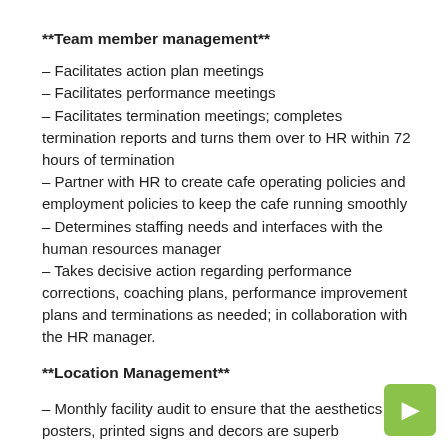**Team member management**
– Facilitates action plan meetings
– Facilitates performance meetings
– Facilitates termination meetings; completes termination reports and turns them over to HR within 72 hours of termination
– Partner with HR to create cafe operating policies and employment policies to keep the cafe running smoothly
– Determines staffing needs and interfaces with the human resources manager
– Takes decisive action regarding performance corrections, coaching plans, performance improvement plans and terminations as needed; in collaboration with the HR manager.
**Location Management**
– Monthly facility audit to ensure that the aesthetics of all posters, printed signs and decors are superb
– Give passage to shift supervisors